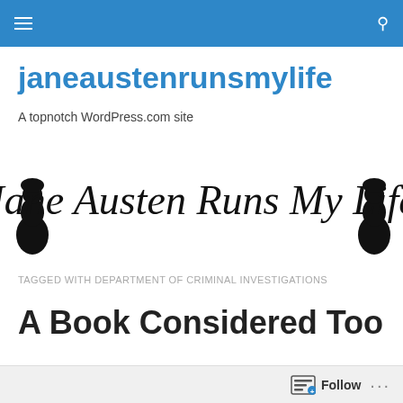janeaustenrunsmylife navigation bar
janeaustenrunsmylife
A topnotch WordPress.com site
[Figure (logo): Decorative blog logo with silhouettes of Jane Austen and cursive script reading 'Jane Austen Runs My Life']
TAGGED WITH DEPARTMENT OF CRIMINAL INVESTIGATIONS
A Book Considered Too Dangerous to Keep In...